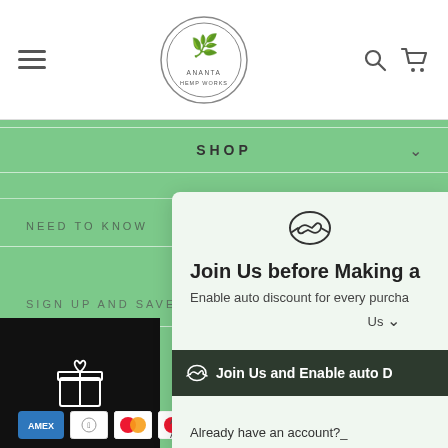[Figure (screenshot): Ananta Hemp Works website header with hamburger menu, circular logo with hemp leaf, search and cart icons on white background]
SHOP
NEED TO KNOW
SIGN UP AND SAVE
DISCLAIMER:
[Figure (screenshot): Popup modal: handshake icon, title 'Join Us before Making a', subtitle 'Enable auto discount for every purcha...Us', dark green button 'Join Us and Enable auto D', and text 'Already have an account?']
[Figure (logo): Payment method icons: AMEX, Apple Pay, Mastercard, Mastercard, VISA]
Ananta Hemp Works | Ananta Hempworks Solutions Pvt. Ltd. | All Rights Reserved.